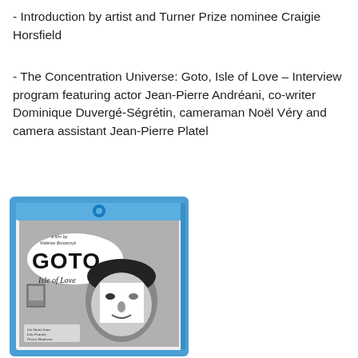- Introduction by artist and Turner Prize nominee Craigie Horsfield
- The Concentration Universe: Goto, Isle of Love – Interview program featuring actor Jean-Pierre Andréani, co-writer Dominique Duvergé-Ségrétin, cameraman Noël Véry and camera assistant Jean-Pierre Platel
[Figure (photo): Blu-ray case of 'Goto, Isle of Love' film directed by Walerian Borowczyk, featuring a black and white image of a man's face partially covered by a white shape, with handwritten text showing the film title and cast names including Saint-Jean, Pranier, and Brakseer.]